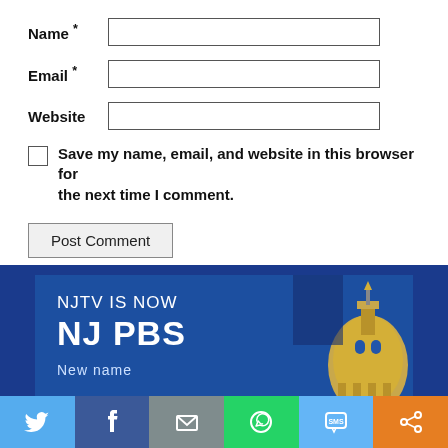Name *
Email *
Website
Save my name, email, and website in this browser for the next time I comment.
Post Comment
[Figure (screenshot): NJTV IS NOW NJ PBS advertisement banner with golden dome image]
New name
[Figure (infographic): Social sharing footer bar with Twitter, Facebook, Email, WhatsApp, SMS, and share icons]